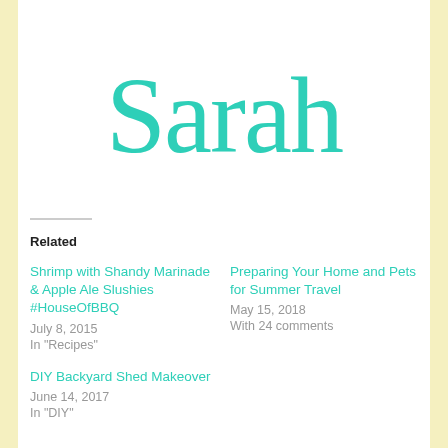[Figure (logo): Handwritten cursive 'Sarah' in teal/turquoise color, large decorative signature-style lettering]
Related
Shrimp with Shandy Marinade & Apple Ale Slushies #HouseOfBBQ
July 8, 2015
In "Recipes"
Preparing Your Home and Pets for Summer Travel
May 15, 2018
With 24 comments
DIY Backyard Shed Makeover
June 14, 2017
In "DIY"